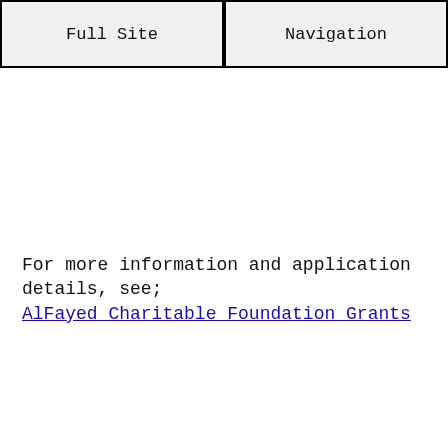Full Site | Navigation
For more information and application details, see; AlFayed Charitable Foundation Grants